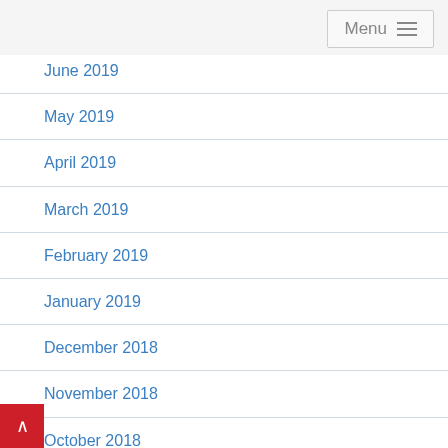Menu
June 2019
May 2019
April 2019
March 2019
February 2019
January 2019
December 2018
November 2018
October 2018
September 2018
August 2018
July 2018
June 2018
May 2018